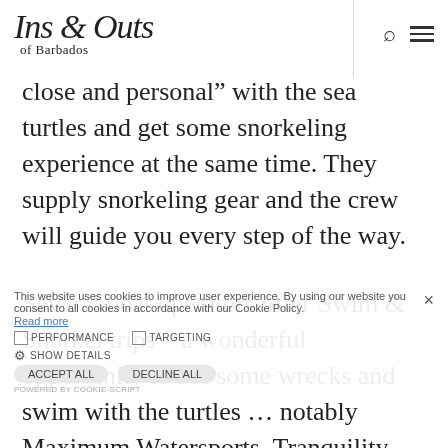Ins & Outs of Barbados
close and personal” with the sea turtles and get some snorkeling experience at the same time. They supply snorkeling gear and the crew will guide you every step of the way.
This website uses cookies to improve user experience. By using our website you consent to all cookies in accordance with our Cookie Policy. Read more
Several boat operators offer Swim & Snorkel trips – a wonderful opportunity to see some wrecks and swim with the turtles ... notably Maximum Watersports, Tranquility Cruises, Cannon Charters and Barbados Fishing Charters on “IOU”